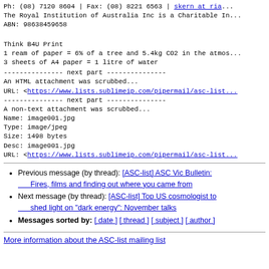Ph: (08) 7120 8604 | Fax: (08) 8221 6563 | skern at ria...
The Royal Institution of Australia Inc is a Charitable In...
ABN: 98638459658
Think B4U Print
1 ream of paper = 6% of a tree and 5.4kg CO2 in the atmos...
3 sheets of A4 paper = 1 litre of water
--------------- next part ---------------
An HTML attachment was scrubbed...
URL: <https://www.lists.sublimeip.com/pipermail/asc-list...>
--------------- next part ---------------
A non-text attachment was scrubbed...
Name: image001.jpg
Type: image/jpeg
Size: 1498 bytes
Desc: image001.jpg
URL: <https://www.lists.sublimeip.com/pipermail/asc-list...>
Previous message (by thread): [ASC-list] ASC Vic Bulletin: Fires, films and finding out where you came from
Next message (by thread): [ASC-list] Top US cosmologist to shed light on "dark energy": November talks
Messages sorted by: [ date ] [ thread ] [ subject ] [ author ]
More information about the ASC-list mailing list